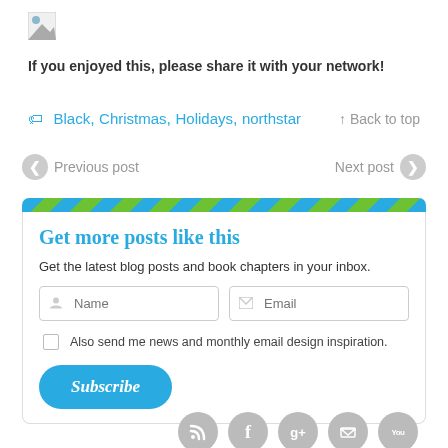[Figure (other): Broken image placeholder (small thumbnail icon)]
If you enjoyed this, please share it with your network!
🏷 Black, Christmas, Holidays, northstar   ↑ Back to top
❮ Previous post    Next post ❯
Get more posts like this
Get the latest blog posts and book chapters in your inbox.
Name  Email  Also send me news and monthly email design inspiration.  Subscribe
[Figure (other): Social media icons row: RSS, Facebook, Google+, unknown, YouTube]